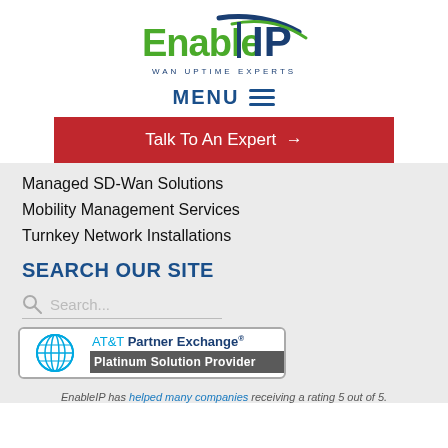[Figure (logo): EnableIP logo with text 'WAN UPTIME EXPERTS' below in dark blue, green stylized lettering]
MENU ≡
Talk To An Expert →
Managed SD-Wan Solutions
Mobility Management Services
Turnkey Network Installations
SEARCH OUR SITE
Search...
[Figure (logo): AT&T Partner Exchange Platinum Solution Provider badge]
EnableIP has helped many companies receiving a rating 5 out of 5.